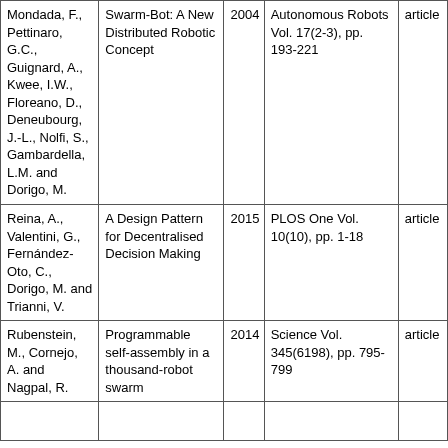| Authors | Title | Year | Publication | Type |
| --- | --- | --- | --- | --- |
| Mondada, F., Pettinaro, G.C., Guignard, A., Kwee, I.W., Floreano, D., Deneubourg, J.-L., Nolfi, S., Gambardella, L.M. and Dorigo, M. | Swarm-Bot: A New Distributed Robotic Concept | 2004 | Autonomous Robots Vol. 17(2-3), pp. 193-221 | article |
| Reina, A., Valentini, G., Fernández-Oto, C., Dorigo, M. and Trianni, V. | A Design Pattern for Decentralised Decision Making | 2015 | PLOS One Vol. 10(10), pp. 1-18 | article |
| Rubenstein, M., Cornejo, A. and Nagpal, R. | Programmable self-assembly in a thousand-robot swarm | 2014 | Science Vol. 345(6198), pp. 795-799 | article |